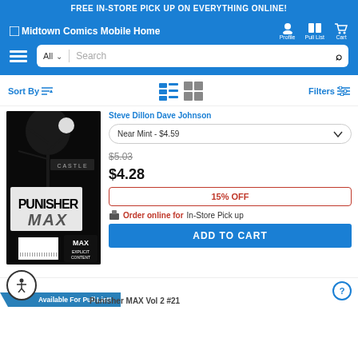FREE IN-STORE PICK UP ON EVERYTHING ONLINE!
[Figure (screenshot): Midtown Comics mobile website header with logo, Profile, Pull List, Cart navigation icons, hamburger menu, All category dropdown, and search bar]
Sort By
Filters
[Figure (photo): Punisher MAX comic book cover showing black and white art with tree silhouette, PUNISHER MAX text, CASTLE label, and MAX EXPLICIT CONTENT label]
Steve Dillon Dave Johnson
Near Mint - $4.59
$5.03
$4.28
15% OFF
Order online for In-Store Pick up
ADD TO CART
Available For Pull List!
Punisher MAX Vol 2 #21